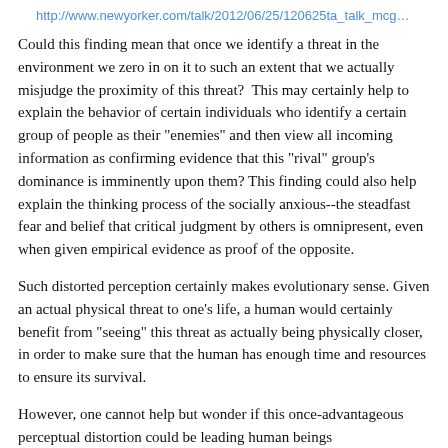http://www.newyorker.com/talk/2012/06/25/120625ta_talk_mcgrath
Could this finding mean that once we identify a threat in the environment we zero in on it to such an extent that we actually misjudge the proximity of this threat? This may certainly help to explain the behavior of certain individuals who identify a certain group of people as their "enemies" and then view all incoming information as confirming evidence that this "rival" group's dominance is imminently upon them? This finding could also help explain the thinking process of the socially anxious--the steadfast fear and belief that critical judgment by others is omnipresent, even when given empirical evidence as proof of the opposite.
Such distorted perception certainly makes evolutionary sense. Given an actual physical threat to one's life, a human would certainly benefit from "seeing" this threat as actually being physically closer, in order to make sure that the human has enough time and resources to ensure its survival.
However, one cannot help but wonder if this once-advantageous perceptual distortion could be leading human beings